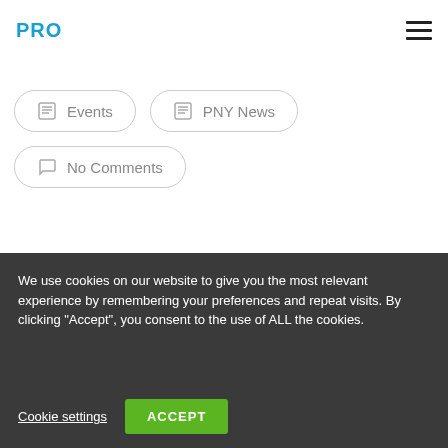PRO
Events
PNY News
No Comments
We use cookies on our website to give you the most relevant experience by remembering your preferences and repeat visits. By clicking "Accept", you consent to the use of ALL the cookies.
Cookie settings
ACCEPT